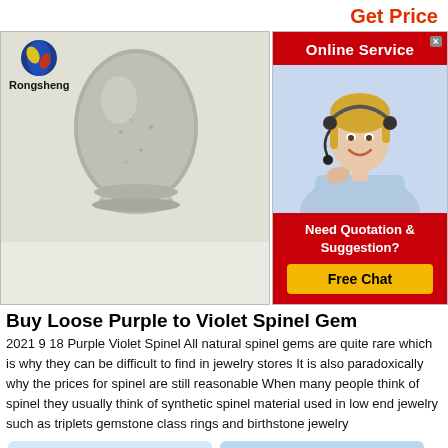Get Price
[Figure (photo): Product photo: a grey powdered spinel gemstone material formed into an egg/dome shape on a small pedestal, displayed against a light grey textured background. Rongsheng logo and text appear in upper left.]
[Figure (photo): Online Service widget: red header bar with 'Online Service' text and close X button, photo of smiling blonde female customer service agent with headset, red footer with 'Need Quotation & Suggestion?' text and yellow 'Free Chat' button]
Buy Loose Purple to Violet Spinel Gem
2021 9 18 Purple Violet Spinel All natural spinel gems are quite rare which is why they can be difficult to find in jewelry stores It is also paradoxically why the prices for spinel are still reasonable When many people think of spinel they usually think of synthetic spinel material used in low end jewelry such as triplets gemstone class rings and birthstone jewelry
Get a Quote
Chat Now